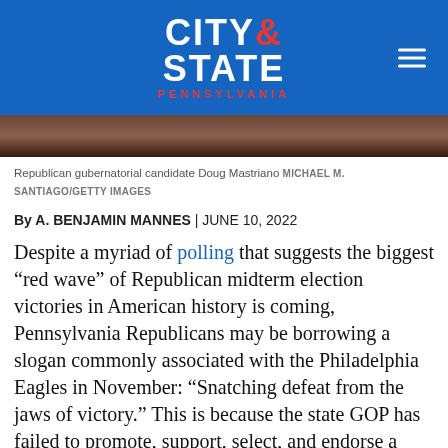CITY & STATE PENNSYLVANIA
[Figure (photo): Partial photo of Republican gubernatorial candidate Doug Mastriano, dark toned image]
Republican gubernatorial candidate Doug Mastriano MICHAEL M. SANTIAGO/GETTY IMAGES
By A. BENJAMIN MANNES | JUNE 10, 2022
Despite a myriad of polling that suggests the biggest “red wave” of Republican midterm election victories in American history is coming, Pennsylvania Republicans may be borrowing a slogan commonly associated with the Philadelphia Eagles in November: “Snatching defeat from the jaws of victory.” This is because the state GOP has failed to promote, support, select, and endorse a slate of candidates that can succeed in the general election against Josh Shapiro and John Fetterman.